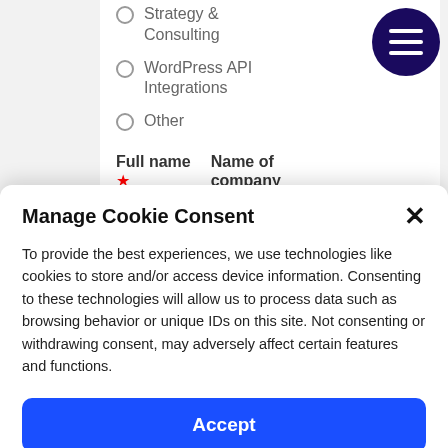Strategy & Consulting
WordPress API Integrations
Other
Full name   Name of company *
Manage Cookie Consent
To provide the best experiences, we use technologies like cookies to store and/or access device information. Consenting to these technologies will allow us to process data such as browsing behavior or unique IDs on this site. Not consenting or withdrawing consent, may adversely affect certain features and functions.
Accept
Cookie Policy   Privacy Statement